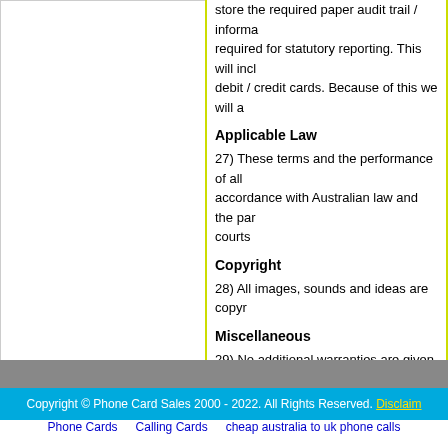store the required paper audit trail / informa required for statutory reporting. This will incl debit / credit cards. Because of this we will a
Applicable Law
27) These terms and the performance of all accordance with Australian law and the par courts
Copyright
28) All images, sounds and ideas are copyr
Miscellaneous
29) No additional warranties are given or im management. Phone Card Sales makes no consequential, or other damages
Rechargeable Cards
30) All rechargeable cards on this website c
Copyright © Phone Card Sales 2000 - 2022. All Rights Reserved. Disclaim
Phone Cards   Calling Cards   cheap australia to uk phone calls